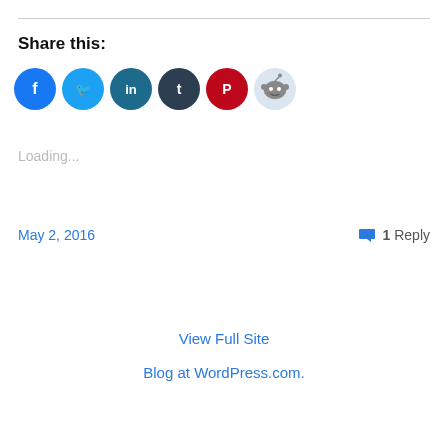Share this:
[Figure (infographic): Six social media share buttons as colored circles: Facebook (blue), Twitter (light blue), LinkedIn (dark teal), Tumblr (dark navy), Pinterest (red), Reddit (light gray)]
Loading...
May 2, 2016
1 Reply
View Full Site
Blog at WordPress.com.